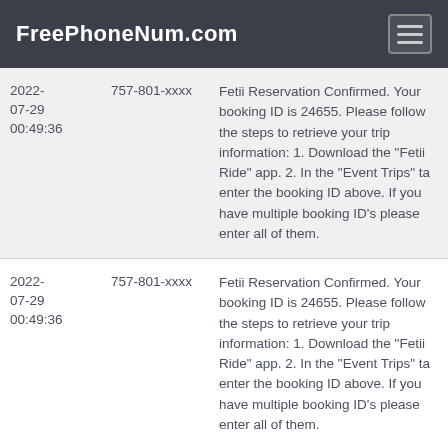FreePhoneNum.com
| Date | Number | Message |
| --- | --- | --- |
| 2022-07-29 00:49:36 | 757-801-xxxx | Fetii Reservation Confirmed. Your booking ID is 24655. Please follow the steps to retrieve your trip information: 1. Download the "Fetii Ride" app. 2. In the "Event Trips" tab enter the booking ID above. If you have multiple booking ID's please enter all of them. |
| 2022-07-29 00:49:36 | 757-801-xxxx | Fetii Reservation Confirmed. Your booking ID is 24655. Please follow the steps to retrieve your trip information: 1. Download the "Fetii Ride" app. 2. In the "Event Trips" tab enter the booking ID above. If you have multiple booking ID's please enter all of them. |
| 2022-08-02 06:26:20 | 757-801-xxxx | Fetii Reservation Confirmed. Your booking ID is 62151. Please follow the steps to retrieve your trip information: 1. Download the "Fetii Ride" app. 2. In the "Event Trips" tab enter the booking ID above. If you have multiple booking ID's please |